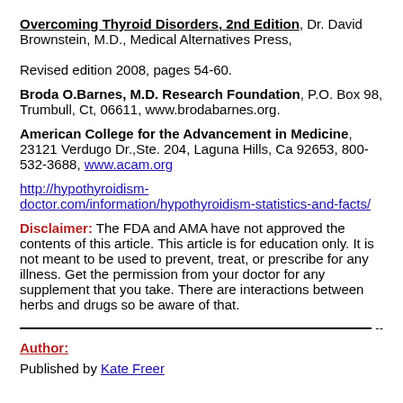Overcoming Thyroid Disorders, 2nd Edition, Dr. David Brownstein, M.D., Medical Alternatives Press, Revised edition 2008, pages 54-60.
Broda O.Barnes, M.D. Research Foundation, P.O. Box 98, Trumbull, Ct, 06611, www.brodabarnes.org.
American College for the Advancement in Medicine, 23121 Verdugo Dr.,Ste. 204, Laguna Hills, Ca 92653, 800-532-3688, www.acam.org
http://hypothyroidism-doctor.com/information/hypothyroidism-statistics-and-facts/
Disclaimer: The FDA and AMA have not approved the contents of this article. This article is for education only. It is not meant to be used to prevent, treat, or prescribe for any illness. Get the permission from your doctor for any supplement that you take. There are interactions between herbs and drugs so be aware of that.
Author:
Published by Kate Freer